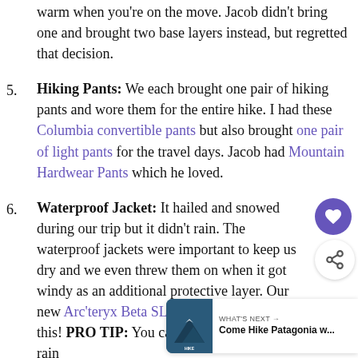warm when you're on the move. Jacob didn't bring one and brought two base layers instead, but regretted that decision.
5. Hiking Pants: We each brought one pair of hiking pants and wore them for the entire hike. I had these Columbia convertible pants but also brought one pair of light pants for the travel days. Jacob had Mountain Hardwear Pants which he loved.
6. Waterproof Jacket: It hailed and snowed during our trip but it didn't rain. The waterproof jackets were important to keep us dry and we even threw them on when it got windy as an additional protective layer. Our new Arc'teryx Beta SL Jackets were perfect for this! PRO TIP: You can extend the life of your rain